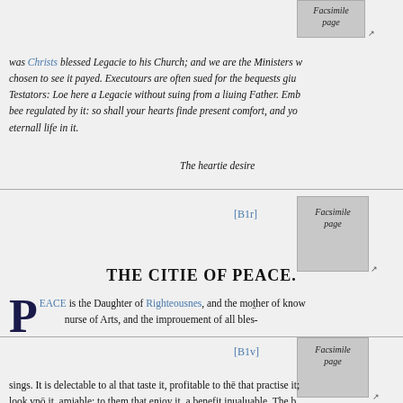[Figure (other): Facsimile page thumbnail at top right]
was Christs blessed Legacie to his Church; and we are the Ministers chosen to see it payed. Executours are often sued for the bequests giue Testators: Loe here a Legacie without suing from a liuing Father. Em bee regulated by it: so shall your hearts finde present comfort, and yo eternall life in it.
The heartie desire
[B1r]
[Figure (other): Facsimile page thumbnail for B1r]
THE CITIE OF PEACE.
PEACE is the Daughter of Righteousnes, and the mo[t]her of know nurse of Arts, and the improuement of all bles-
[B1v]
[Figure (other): Facsimile page thumbnail for B1v]
sings. It is delectable to al that taste it, profitable to the that practise it; look vpon it, amiable; to them that enioy it, a benefit inualuable. The b